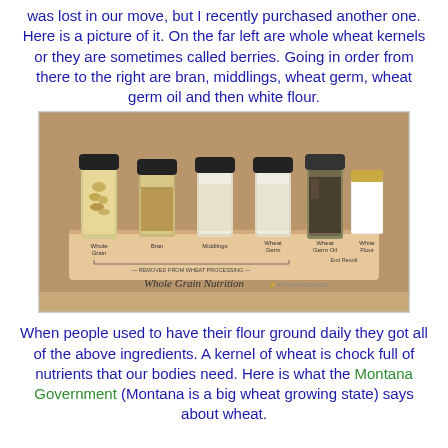was lost in our move, but I recently purchased another one. Here is a picture of it. On the far left are whole wheat kernels or they are sometimes called berries. Going in order from there to the right are bran, middlings, wheat germ, wheat germ oil and then white flour.
[Figure (photo): A Whole Grain Nutrition display kit showing six small glass bottles with black lids mounted on a wooden block, each containing different components of wheat: Whole Grain, Bran, Middlings, Wheat Germ, Wheat Germ Oil, and White Flour. Labels on the wooden block indicate 'Removed from Wheat Processing' and 'End Result'.]
When people used to have their flour ground daily they got all of the above ingredients. A kernel of wheat is chock full of nutrients that our bodies need. Here is what the Montana Government (Montana is a big wheat growing state) says about wheat.